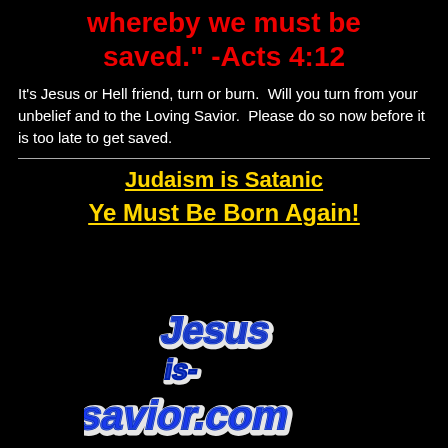whereby we must be saved." -Acts 4:12
It's Jesus or Hell friend, turn or burn.  Will you turn from your unbelief and to the Loving Savior.  Please do so now before it is too late to get saved.
Judaism is Satanic
Ye Must Be Born Again!
[Figure (logo): 3D blue and white stylized text logo reading 'Jesus is Savior.com']